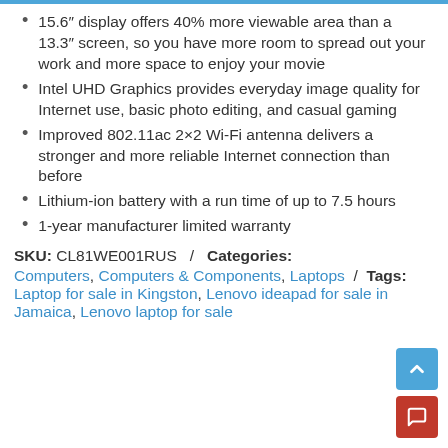15.6″ display offers 40% more viewable area than a 13.3″ screen, so you have more room to spread out your work and more space to enjoy your movie
Intel UHD Graphics provides everyday image quality for Internet use, basic photo editing, and casual gaming
Improved 802.11ac 2×2 Wi-Fi antenna delivers a stronger and more reliable Internet connection than before
Lithium-ion battery with a run time of up to 7.5 hours
1-year manufacturer limited warranty
SKU: CL81WE001RUS / Categories: Computers, Computers & Components, Laptops / Tags: Laptop for sale in Kingston, Lenovo ideapad for sale in Jamaica, Lenovo laptop for sale